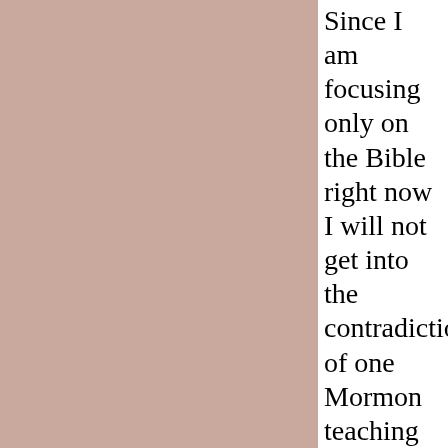Since I am focusing only on the Bible right now I will not get into the contradiction of one Mormon teaching contradicting another Mormon teaching. We will